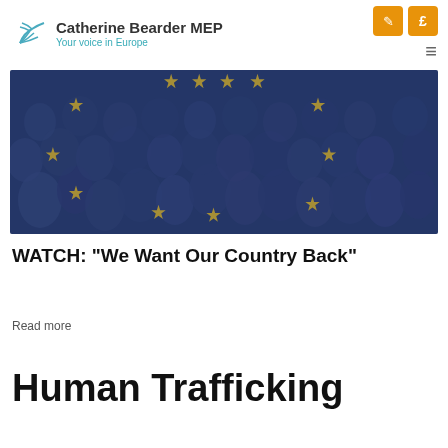Catherine Bearder MEP — Your voice in Europe
[Figure (photo): A large crowd of people overlaid with a translucent blue-tinted European Union flag showing gold stars, symbolizing European unity and population.]
WATCH: "We Want Our Country Back"
Read more
Human Trafficking